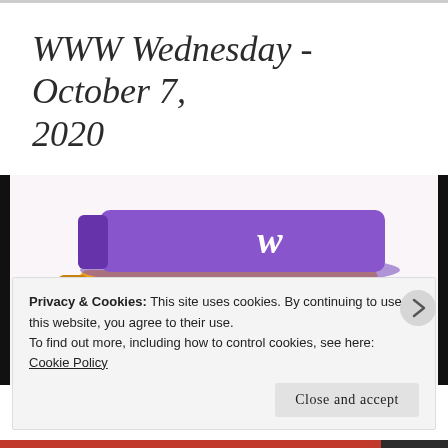WWW Wednesday - October 7, 2020
[Figure (illustration): Stack of three colorful books with letter W on spines: purple on top, orange in middle, green at bottom, on a dotted background]
Privacy & Cookies: This site uses cookies. By continuing to use this website, you agree to their use.
To find out more, including how to control cookies, see here:
Cookie Policy
Close and accept